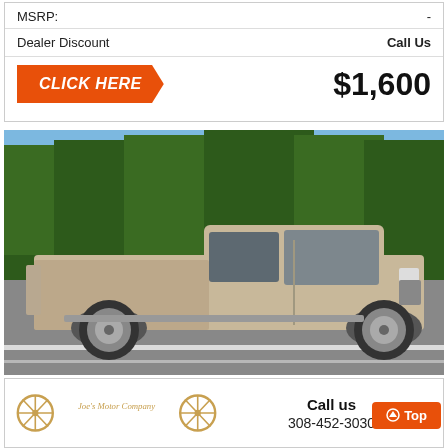MSRP: -
Dealer Discount    Call Us
CLICK HERE    $1,600
[Figure (photo): Side view of a tan/gold Chevrolet Silverado crew cab long bed pickup truck parked on a road with trees in background]
[Figure (logo): Joe's Motor Company logo with two wagon wheels on either side of the text]
Call us
308-452-3030